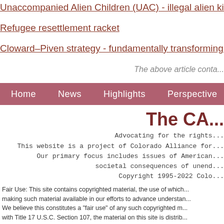Unaccompanied Alien Children (UAC) - illegal alien kiddie coloni...
Refugee resettlement racket
Cloward–Piven strategy - fundamentally transforming America
The above article conta...
Home   News   Highlights   Perspective   Act...
The CA...
Advocating for the rights...
This website is a project of Colorado Alliance for...
Our primary focus includes issues of American...
societal consequences of unend...
Copyright 1995-2022 Colo...
Fair Use: This site contains copyrighted material, the use of which... making such material available in our efforts to advance understan... We believe this constitutes a "fair use" of any such copyrighted m... with Title 17 U.S.C. Section 107, the material on this site is distrib...